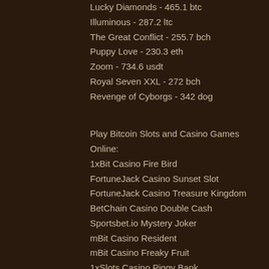Lucky Diamonds - 465.1 btc
Illuminous - 287.2 ltc
The Great Conflict - 255.7 bch
Puppy Love - 230.3 eth
Zoom - 734.6 usdt
Royal Seven XXL - 272 bch
Revenge of Cyborgs - 342 dog
Play Bitcoin Slots and Casino Games Online:
1xBit Casino Fire Bird
FortuneJack Casino Sunset Slot
FortuneJack Casino Treasure Kingdom
BetChain Casino Double Cash
Sportsbet.io Mystery Joker
mBit Casino Resident
mBit Casino Freaky Fruit
1xSlots Casino Piggy Bank
Betchan Casino Admiral Nelson
FortuneJack Casino Mega Power Heroes
BitStarz Casino Stunning Hot 20 Deluxe